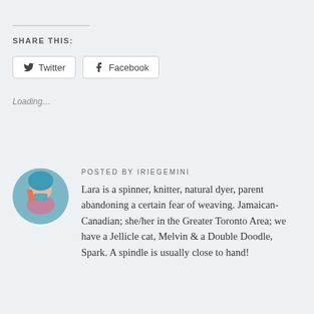SHARE THIS:
[Figure (other): Twitter and Facebook share buttons]
Loading...
POSTED BY IRIEGEMINI
Lara is a spinner, knitter, natural dyer, parent abandoning a certain fear of weaving. Jamaican-Canadian; she/her in the Greater Toronto Area; we have a Jellicle cat, Melvin & a Double Doodle, Spark. A spindle is usually close to hand!